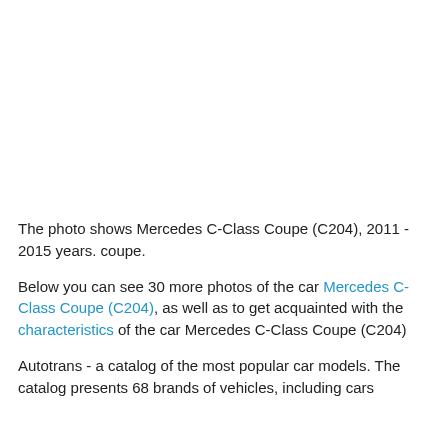[Figure (photo): Photo of Mercedes C-Class Coupe (C204), 2011-2015, coupe — image area is blank/white in this rendering]
The photo shows Mercedes C-Class Coupe (C204), 2011 - 2015 years. coupe.
Below you can see 30 more photos of the car Mercedes C-Class Coupe (C204), as well as to get acquainted with the characteristics of the car Mercedes C-Class Coupe (C204)
Autotrans - a catalog of the most popular car models. The catalog presents 68 brands of vehicles, including cars